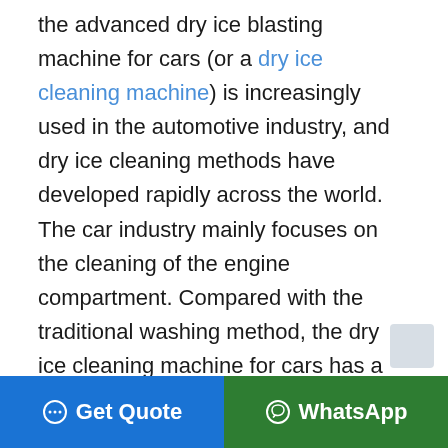the advanced dry ice blasting machine for cars (or a dry ice cleaning machine) is increasingly used in the automotive industry, and dry ice cleaning methods have developed rapidly across the world. The car industry mainly focuses on the cleaning of the engine compartment. Compared with the traditional washing method, the dry ice cleaning machine for cars has a better cleaning effect and higher efficiency. The dry ice car cleaning machine is widely used to clean engines, chassis, car door surfaces, car roof, compartment, chassis oil, etc. in car workshops or reconditioning shops.
Get Quote   WhatsApp